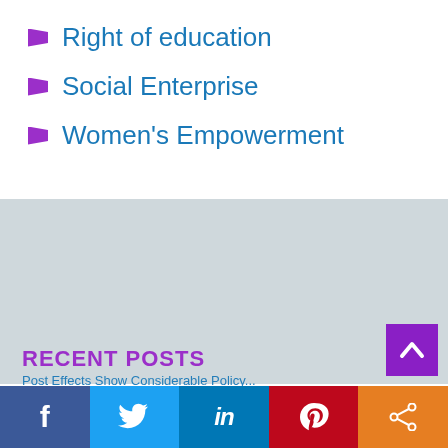Right of education
Social Enterprise
Women's Empowerment
RECENT POSTS
f  t  in  p  share